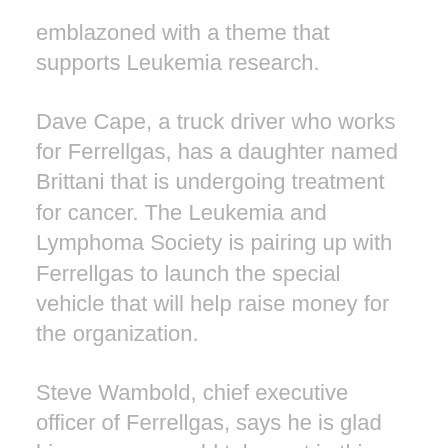emblazoned with a theme that supports Leukemia research.
Dave Cape, a truck driver who works for Ferrellgas, has a daughter named Brittani that is undergoing treatment for cancer. The Leukemia and Lymphoma Society is pairing up with Ferrellgas to launch the special vehicle that will help raise money for the organization.
Steve Wambold, chief executive officer of Ferrellgas, says he is glad his company could take part in this opportunity to give back to causes that are important to their